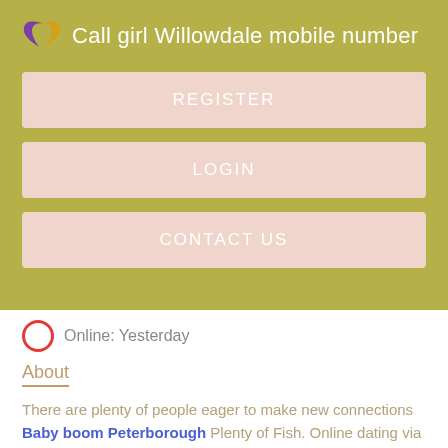Call girl Willowdale mobile number
REGISTER
LOGIN
CONTACT US
Online: Yesterday
About
There are plenty of people eager to make new connections Baby boom Peterborough Plenty of Fish. Online dating via Blackstone massage Cambridge